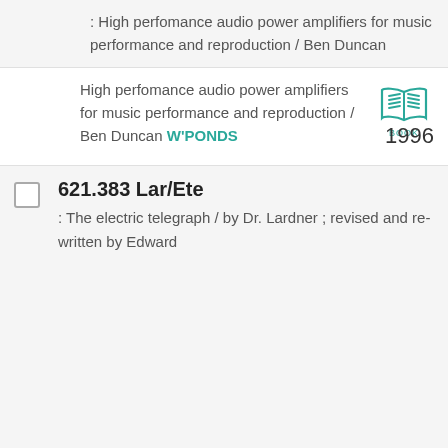: High perfomance audio power amplifiers for music performance and reproduction / Ben Duncan
High perfomance audio power amplifiers for music performance and reproduction / Ben Duncan W'PONDS
1996
621.383 Lar/Ete
: The electric telegraph / by Dr. Lardner ; revised and re-written by Edward